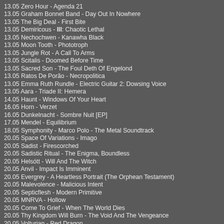13.05 Zero Hour - Agenda 21
13.05 Graham Bonnet Band - Day Out In Nowhere
13.05 The Big Deal - First Bite
13.05 Demiricous - III: Chaotic Lethal
13.05 Nechochwen - Kanawha Black
13.05 Moon Tooth - Phototroph
13.05 Jungle Rot - A Call To Arms
13.05 Scitalis - Doomed Before Time
13.05 Sacred Son - The Foul Deth Of Engelond
13.05 Ratos De Porão - Necropolitica
13.05 Emma Ruth Rundle - Electric Guitar 2: Dowsing Voice
13.05 Aara - Triade II: Hemera
14.05 Haunt - Windows Of Your Heart
16.05 Horn - Verzet
16.05 Dunkelnacht - Sombre Nuit [EP]
17.05 Mendel - Equilibrium
18.05 Symphonity - Marco Polo - The Metal Soundtrack
20.05 Space Of Variations - Imago
20.05 Sadist - Firescorched
20.05 Sadistic Ritual - The Enigma, Boundless
20.05 Helsótt - Will And The Witch
20.05 Anvil - Impact Is Imminent
20.05 Evergrey - A Heartless Portrait (The Orphean Testament)
20.05 Malevolence - Malicious Intent
20.05 Septicflesh - Modern Primitive
20.05 MNRVA - Hollow
20.05 Come To Grief - When The World Dies
20.05 Thy Kingdom Will Burn - The Void And The Vengeance
20.05 Volturian - Red Dragon
20.05 Blut Aus Nord - Disharmonium - Undreamable Abysses
20.05 James LaBrie - Beautiful Shade Of Grey
20.05 Gronibard - Regarde Les Hommes Sucer
20.05 Cave In - Heavy Pendulum
20.05 Luminous Vault - Animate The Emptiness
20.05 Assumption - Hadean Tides
20.05 A Sound Of Thunder - The Krimson Kult
20.05 Quartz - On The Edge Of No Tomorrow